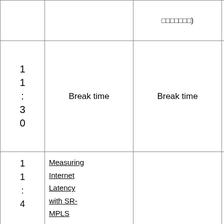| Time | Title | Title (EN) | Author |
| --- | --- | --- | --- |
|  | □□□□□□□) | □□□□□□□□□□□□) |  |
| 1
1
:
3
0 | Break time | Break time | □□□□□□□□□□□□□□)
Masahiro
Nakazato(BBIX□□□□)
Masaski
Yoshimura(SB□□□□□□□□) |
| 1
1
:
4 | Measuring Internet Latency with SR-MPLS Egress Peer Engineering |  |  |